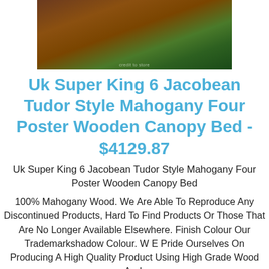[Figure (photo): Photo of a Jacobean Tudor style mahogany four poster wooden canopy bed on a green background]
Uk Super King 6 Jacobean Tudor Style Mahogany Four Poster Wooden Canopy Bed - $4129.87
Uk Super King 6 Jacobean Tudor Style Mahogany Four Poster Wooden Canopy Bed
100% Mahogany Wood. We Are Able To Reproduce Any Discontinued Products, Hard To Find Products Or Those That Are No Longer Available Elsewhere. Finish Colour Our Trademarkshadow Colour. W E Pride Ourselves On Producing A High Quality Product Using High Grade Wood And.
[Figure (photo): Partial photo of canopy bed posts against a light grey background]